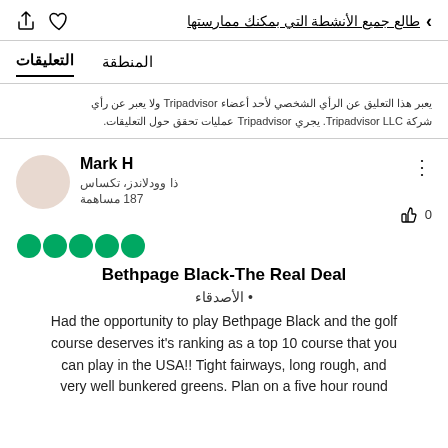طالع جميع الأنشطة التي بمكنك ممارستها
المنطقة   التعليقات
يعبر هذا التعليق عن الرأي الشخصي لأحد أعضاء Tripadvisor ولا يعبر عن رأي شركة Tripadvisor LLC. يجري Tripadvisor عمليات تحقق حول التعليقات.
Mark H
ذا وودلاندز، تكساس
187 مساهمة
[Figure (other): Five green circles representing a 5-star rating on TripAdvisor]
Bethpage Black-The Real Deal
• الأصدقاء
Had the opportunity to play Bethpage Black and the golf course deserves it's ranking as a top 10 course that you can play in the USA!! Tight fairways, long rough, and very well bunkered greens. Plan on a five hour round